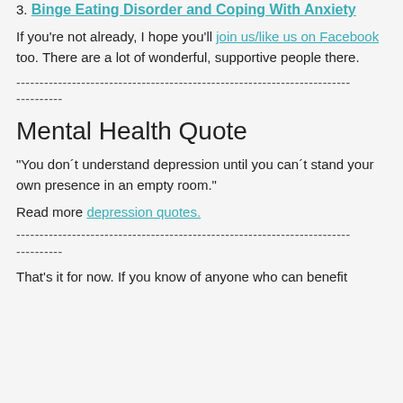3. Binge Eating Disorder and Coping With Anxiety
If you're not already, I hope you'll join us/like us on Facebook too. There are a lot of wonderful, supportive people there.
------------------------------------------------------------------------
----------
Mental Health Quote
"You don´t understand depression until you can´t stand your own presence in an empty room."
Read more depression quotes.
------------------------------------------------------------------------
----------
That's it for now. If you know of anyone who can benefit